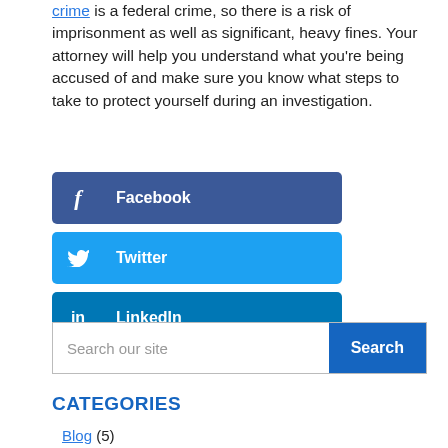crime is a federal crime, so there is a risk of imprisonment as well as significant, heavy fines. Your attorney will help you understand what you're being accused of and make sure you know what steps to take to protect yourself during an investigation.
[Figure (other): Facebook share button - dark blue rounded rectangle with Facebook f icon and bold white text 'Facebook']
[Figure (other): Twitter share button - light blue rounded rectangle with Twitter bird icon and bold white text 'Twitter']
[Figure (other): LinkedIn share button - medium blue rounded rectangle with LinkedIn 'in' icon and bold white text 'LinkedIn']
[Figure (other): Search bar with placeholder 'Search our site' and a blue 'Search' button]
CATEGORIES
Blog (5)
Criminal Defense (102)